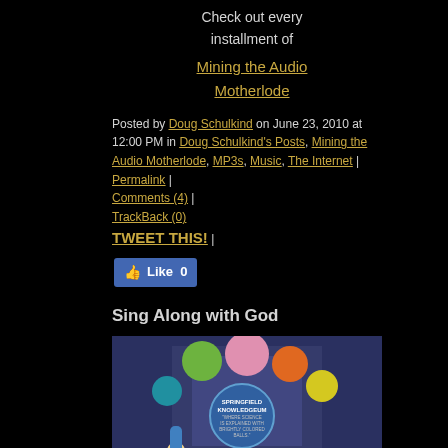Check out every installment of
Mining the Audio Motherlode
Posted by Doug Schulkind on June 23, 2010 at 12:00 PM in Doug Schulkind's Posts, Mining the Audio Motherlode, MP3s, Music, The Internet | Permalink | Comments (4) | TrackBack (0) TWEET THIS! |
[Figure (screenshot): Facebook Like button showing 0 likes]
Sing Along with God
[Figure (illustration): Scene from The Simpsons showing Homer, Marge and Bart walking past the Springfield Knowledgeum sign which reads 'Where Science is Explained with Brightly Colored Balls']
Scientists and Experts have been doing some serious